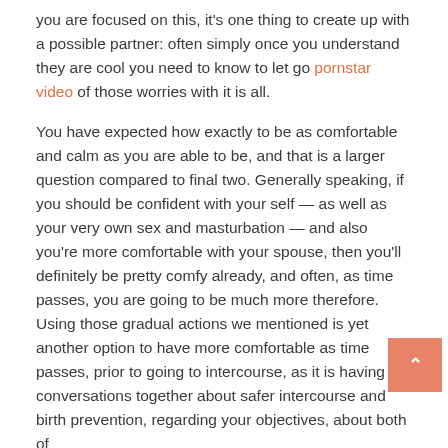you are focused on this, it's one thing to create up with a possible partner: often simply once you understand they are cool you need to know to let go pornstar video of those worries with it is all.
You have expected how exactly to be as comfortable and calm as you are able to be, and that is a larger question compared to final two. Generally speaking, if you should be confident with your self — as well as your very own sex and masturbation — and also you're more comfortable with your spouse, then you'll definitely be pretty comfy already, and often, as time passes, you are going to be much more therefore. Using those gradual actions we mentioned is yet another option to have more comfortable as time passes, prior to going to intercourse, as it is having conversations together about safer intercourse and birth prevention, regarding your objectives, about both of